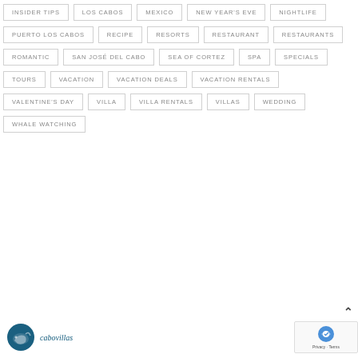INSIDER TIPS
LOS CABOS
MEXICO
NEW YEAR'S EVE
NIGHTLIFE
PUERTO LOS CABOS
RECIPE
RESORTS
RESTAURANT
RESTAURANTS
ROMANTIC
SAN JOSÉ DEL CABO
SEA OF CORTEZ
SPA
SPECIALS
TOURS
VACATION
VACATION DEALS
VACATION RENTALS
VALENTINE'S DAY
VILLA
VILLA RENTALS
VILLAS
WEDDING
WHALE WATCHING
[Figure (logo): Cabovillas logo with blue dolphin/fish circle icon and italic text]